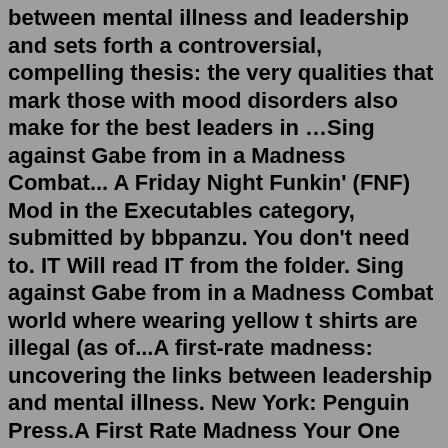between mental illness and leadership and sets forth a controversial, compelling thesis: the very qualities that mark those with mood disorders also make for the best leaders in …Sing against Gabe from in a Madness Combat... A Friday Night Funkin' (FNF) Mod in the Executables category, submitted by bbpanzu. You don't need to. IT Will read IT from the folder. Sing against Gabe from in a Madness Combat world where wearing yellow t shirts are illegal (as of...A first-rate madness: uncovering the links between leadership and mental illness. New York: Penguin Press.A First Rate Madness Your One Black Friend.Madness.exe by ZeroSocialSkillz. Fandoms: Madness Combat (Web Series), Madness: Project Nexus (Video Games). In a distant time and a distant place, a deal is struck out between the WWE, the realm of Newgrounds, and the Eorzean Alliance to conjure up a one-night wrestling event featuring...The first-edition of the DSM represented a revolutionary change in the conception and treatment of mental